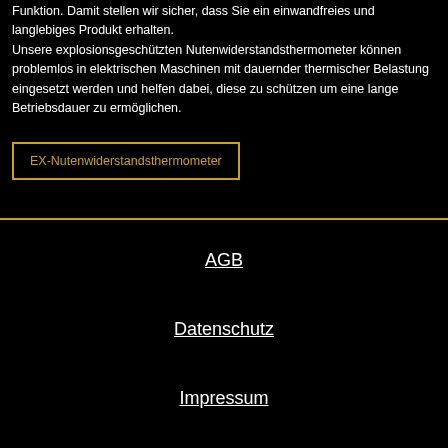Funktion. Damit stellen wir sicher, dass Sie ein einwandfreies und langlebiges Produkt erhalten. Unsere explosionsgeschützten Nutenwiderstandsthermometer können problemlos in elektrischen Maschinen mit dauernder thermischer Belastung eingesetzt werden und helfen dabei, diese zu schützen um eine lange Betriebsdauer zu ermöglichen.
EX-Nutenwiderstandsthermometer
AGB
Datenschutz
Impressum